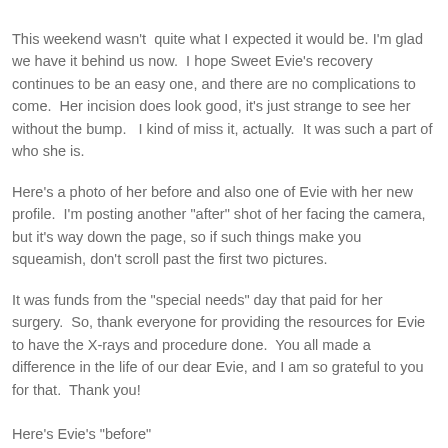This weekend wasn't quite what I expected it would be. I'm glad we have it behind us now. I hope Sweet Evie's recovery continues to be an easy one, and there are no complications to come. Her incision does look good, it's just strange to see her without the bump. I kind of miss it, actually. It was such a part of who she is.
Here's a photo of her before and also one of Evie with her new profile. I'm posting another "after" shot of her facing the camera, but it's way down the page, so if such things make you squeamish, don't scroll past the first two pictures.
It was funds from the "special needs" day that paid for her surgery. So, thank everyone for providing the resources for Evie to have the X-rays and procedure done. You all made a difference in the life of our dear Evie, and I am so grateful to you for that. Thank you!
Here's Evie's "before"